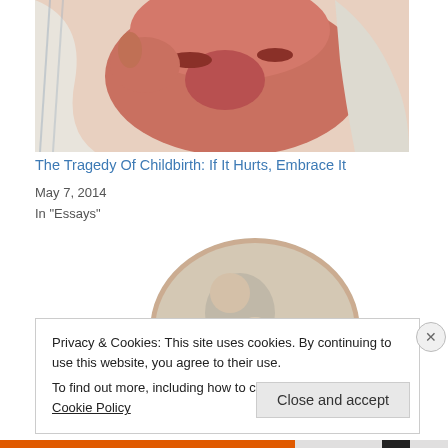[Figure (photo): Close-up photo of a sleeping newborn baby wrapped in a white cloth, with hand near face, warm reddish tones]
The Tragedy Of Childbirth: If It Hurts, Embrace It
May 7, 2014
In "Essays"
[Figure (illustration): Circular illustration showing a figure holding a baby, with orange and grey tones, partially visible]
Privacy & Cookies: This site uses cookies. By continuing to use this website, you agree to their use.
To find out more, including how to control cookies, see here: Cookie Policy
Close and accept